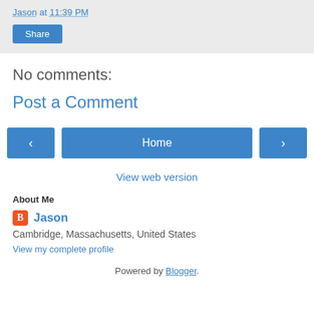Jason at 11:39 PM
Share
No comments:
Post a Comment
‹  Home  ›
View web version
About Me
Jason
Cambridge, Massachusetts, United States
View my complete profile
Powered by Blogger.